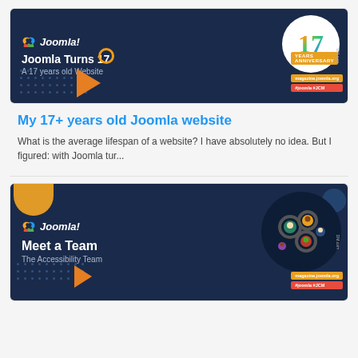[Figure (illustration): Joomla Turns 17 - A 17 years old Website banner with colorful '17' on white circle, dark navy background, decorative elements]
My 17+ years old Joomla website
What is the average lifespan of a website? I have absolutely no idea. But I figured: with Joomla tur...
[Figure (illustration): Joomla Meet a Team - The Accessibility Team banner with gears and people icons on dark navy background]